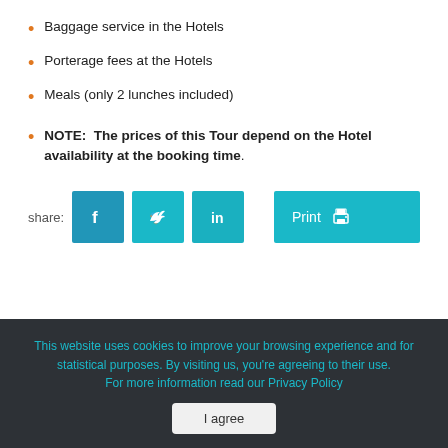Baggage service in the Hotels
Porterage fees at the Hotels
Meals (only 2 lunches included)
NOTE:  The prices of this Tour depend on the Hotel availability at the booking time.
share:
This website uses cookies to improve your browsing experience and for statistical purposes. By visiting us, you're agreeing to their use. For more information read our Privacy Policy
I agree